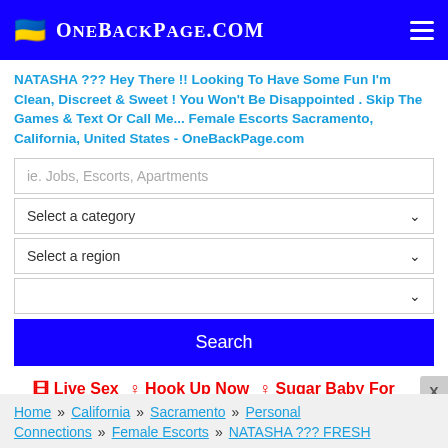OneBackPage.com
NATASHA ??? Hey There !! Looking To Have Some Fun I'm Clean, Discreet & Sweet ! You Won't Be Disappointed . Skip The Games & Text Or Call Me... Female Escorts Sacramento, California, United States - OneBackPage.com
ie. Jobs, Escorts, Apartments
Select a category
Select a region
Search
🎦 Live Sex   ♀ Hook Up Now   ♀ Sugar Baby For Daddies   ♂ Shemale Live Cams
Home » California » Sacramento » Personal
Connections » Female Escorts » NATASHA ??? FRESH